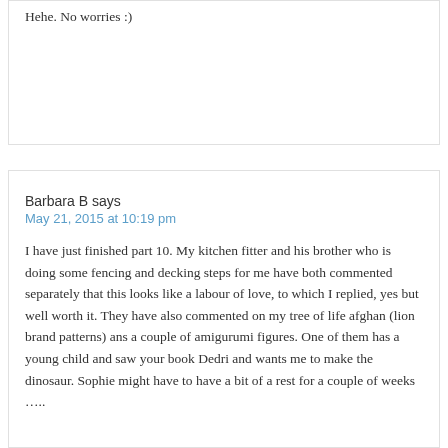Hehe. No worries :)
Barbara B says
May 21, 2015 at 10:19 pm
I have just finished part 10. My kitchen fitter and his brother who is doing some fencing and decking steps for me have both commented separately that this looks like a labour of love, to which I replied, yes but well worth it. They have also commented on my tree of life afghan (lion brand patterns) ans a couple of amigurumi figures. One of them has a young child and saw your book Dedri and wants me to make the dinosaur. Sophie might have to have a bit of a rest for a couple of weeks …..